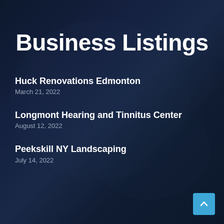Business Listings
Huck Renovations Edmonton
March 21, 2022
Longmont Hearing and Tinnitus Center
August 12, 2022
Peekskill NY Landscaping
July 14, 2022